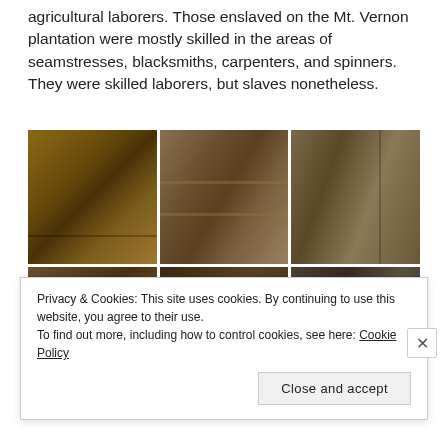agricultural laborers. Those enslaved on the Mt. Vernon plantation were mostly skilled in the areas of seamstresses, blacksmiths, carpenters, and spinners. They were skilled laborers, but slaves nonetheless.
[Figure (photo): A collage of six interior photographs showing slave quarters at Mt. Vernon plantation — depicting brick walls, wooden bunk beds/shelves, rough-hewn timber beams, dirt floors, and sparse furnishings including a fireplace and hanging fabric.]
Privacy & Cookies: This site uses cookies. By continuing to use this website, you agree to their use.
To find out more, including how to control cookies, see here: Cookie Policy